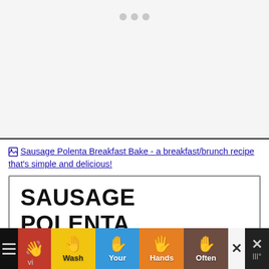[Figure (other): Advertisement placeholder area with three gray dots indicating loading content]
[Figure (other): Broken image placeholder with alt text: Sausage Polenta Breakfast Bake - a breakfast/brunch recipe that's simple and delicious!]
SAUSAGE POLENTA BREAKFAST BAKE
[Figure (other): Bottom advertisement bar with colorful hand-washing public health ad showing hands icons and text: Wash Your Hands Often, with close button and navigation icons]